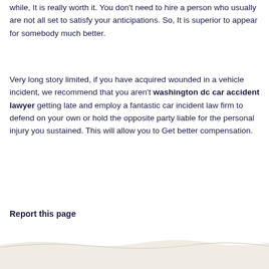while, It is really worth it. You don't need to hire a person who usually are not all set to satisfy your anticipations. So, It is superior to appear for somebody much better.
Very long story limited, if you have acquired wounded in a vehicle incident, we recommend that you aren't washington dc car accident lawyer getting late and employ a fantastic car incident law firm to defend on your own or hold the opposite party liable for the personal injury you sustained. This will allow you to Get better compensation.
Report this page